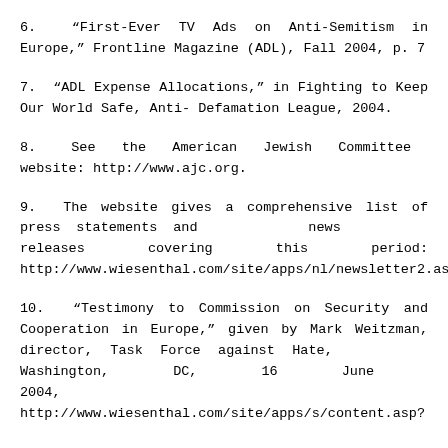6. “First-Ever TV Ads on Anti-Semitism in Europe,” Frontline Magazine (ADL), Fall 2004, p. 7
7. “ADL Expense Allocations,” in Fighting to Keep Our World Safe, Anti- Defamation League, 2004.
8. See the American Jewish Committee website: http://www.ajc.org.
9. The website gives a comprehensive list of press statements and news releases covering this period: http://www.wiesenthal.com/site/apps/nl/newsletter2.asp.
10. “Testimony to Commission on Security and Cooperation in Europe,” given by Mark Weitzman, director, Task Force against Hate, Washington, DC, 16 June 2004, http://www.wiesenthal.com/site/apps/s/content.asp?